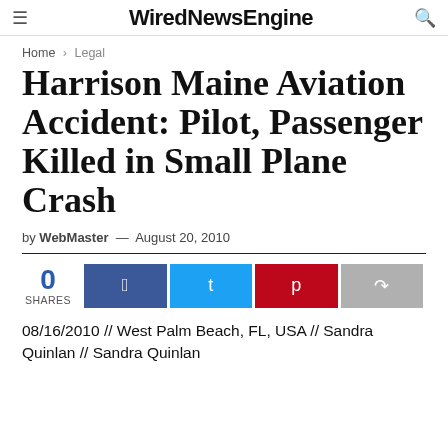WiredNewsEngine
Home > Legal
Harrison Maine Aviation Accident: Pilot, Passenger Killed in Small Plane Crash
by WebMaster — August 20, 2010
[Figure (infographic): Social share buttons showing 0 shares, Facebook, Twitter, Pinterest, and share icons]
08/16/2010 // West Palm Beach, FL, USA // Sandra Quinlan // Sandra Quinlan